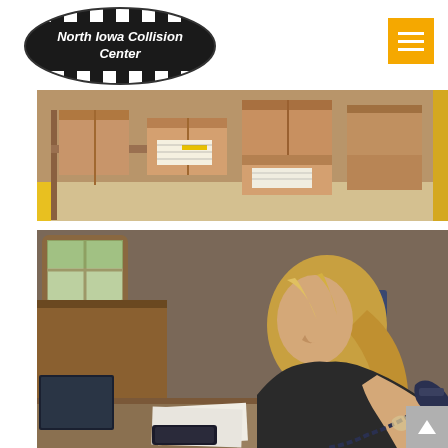[Figure (logo): North Iowa Collision Center logo — oval black and white checkered flag design with white italic text]
[Figure (other): Yellow menu/hamburger button with three white horizontal lines on gold/amber background]
[Figure (photo): Cardboard shipping boxes stacked on shelves in a warehouse or parts storage area]
[Figure (photo): Woman with blonde hair talking on a corded phone at a reception desk in an office environment]